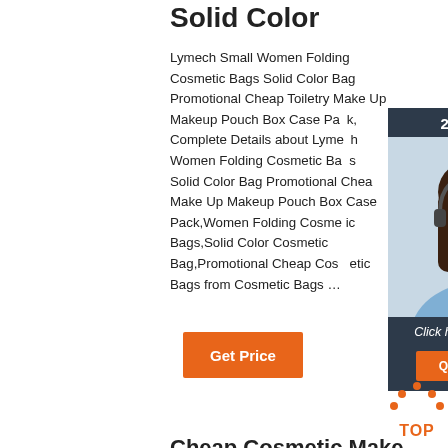Solid Color
Lymech Small Women Folding Cosmetic Bags Solid Color Bag Promotional Cheap Toiletry Make Up Makeup Pouch Box Case Pack, Complete Details about Lymech Small Women Folding Cosmetic Bags Solid Color Bag Promotional Cheap Toiletry Make Up Makeup Pouch Box Case Pack,Women Folding Cosmetic Bags,Solid Color Cosmetic Bag,Promotional Cheap Cosmetic Bags from Cosmetic Bags …
[Figure (photo): Customer service representative wearing headset, smiling. Widget with '24/7 Online' header, 'Click here for free chat!' text, and QUOTATION button.]
Get Price
[Figure (other): TOP button icon with orange dots forming an upward arrow and text 'TOP' in orange]
Cheap Cosmetic Make...